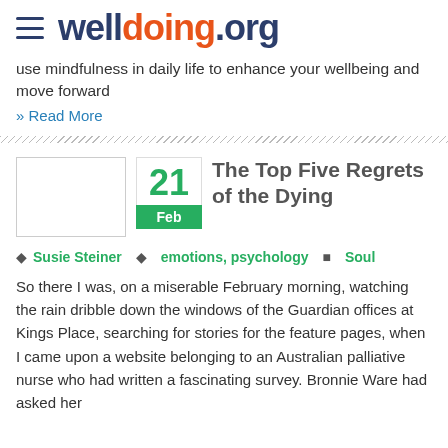welldoing.org
use mindfulness in daily life to enhance your wellbeing and move forward
» Read More
The Top Five Regrets of the Dying
Susie Steiner   emotions, psychology   Soul
So there I was, on a miserable February morning, watching the rain dribble down the windows of the Guardian offices at Kings Place, searching for stories for the feature pages, when I came upon a website belonging to an Australian palliative nurse who had written a fascinating survey. Bronnie Ware had asked her